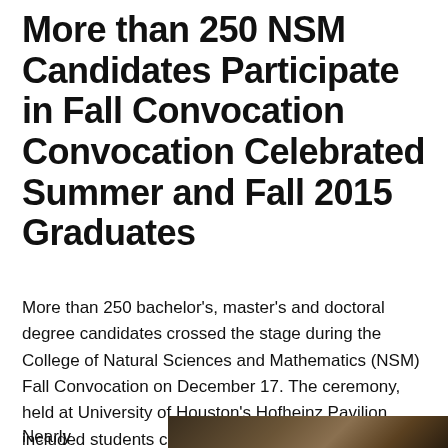More than 250 NSM Candidates Participate in Fall Convocation Convocation Celebrated Summer and Fall 2015 Graduates
More than 250 bachelor's, master's and doctoral degree candidates crossed the stage during the College of Natural Sciences and Mathematics (NSM) Fall Convocation on December 17. The ceremony, held at University of Houston's Hofheinz Pavilion, included students completing degrees in Summer and Fall 2015.
Nearly
[Figure (photo): A photo of the convocation ceremony, partially visible at the bottom of the page.]